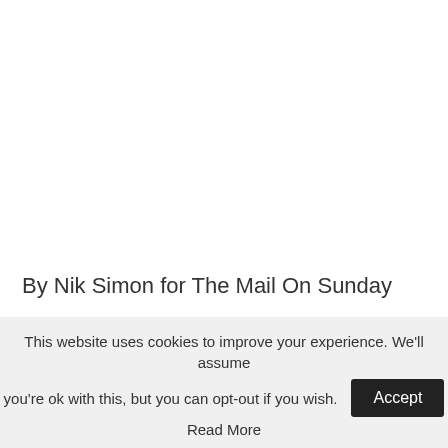By Nik Simon for The Mail On Sunday
PUBLISHED: 5:54 PM EDT, May 21, 2022 | UPDATED: 6:19 PM EDT, May 21, 2022
This website uses cookies to improve your experience. We'll assume you're ok with this, but you can opt-out if you wish. Accept Read More